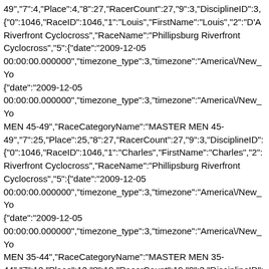49","7":4,"Place":4,"8":27,"RacerCount":27,"9":3,"DisciplineID":3, {"0":1046,"RaceID":1046,"1":"Louis","FirstName":"Louis","2":"D'A Riverfront Cyclocross","RaceName":"Phillipsburg Riverfront Cyclocross","5":{"date":"2009-12-05 00:00:00.000000","timezone_type":3,"timezone":"America\/New_Yo {"date":"2009-12-05 00:00:00.000000","timezone_type":3,"timezone":"America\/New_Yo MEN 45-49","RaceCategoryName":"MASTER MEN 45-49","7":25,"Place":25,"8":27,"RacerCount":27,"9":3,"DisciplineID": {"0":1046,"RaceID":1046,"1":"Charles","FirstName":"Charles","2": Riverfront Cyclocross","RaceName":"Phillipsburg Riverfront Cyclocross","5":{"date":"2009-12-05 00:00:00.000000","timezone_type":3,"timezone":"America\/New_Yo {"date":"2009-12-05 00:00:00.000000","timezone_type":3,"timezone":"America\/New_Yo MEN 35-44","RaceCategoryName":"MASTER MEN 35-44","7":12,"Place":12,"8":19,"RacerCount":19,"9":3,"DisciplineID": {"0":1046,"RaceID":1046,"1":"Scott","FirstName":"Scott","2":"Hei Riverfront Cyclocross","RaceName":"Phillipsburg Riverfront Cyclocross","5":{"date":"2009-12-05 00:00:00.000000","timezone_type":3,"timezone":"America\/New_Yo {"date":"2009-12-05 00:00:00.000000","timezone_type":3,"timezone":"America\/New_Yo CAT 4","RaceCategoryName":"MEN CAT 4","7":28,"Place":28,"8":63,"RacerCount":63,"9":3,"DisciplineID":3